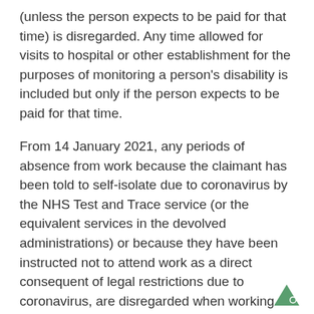(unless the person expects to be paid for that time) is disregarded. Any time allowed for visits to hospital or other establishment for the purposes of monitoring a person's disability is included but only if the person expects to be paid for that time.
From 14 January 2021, any periods of absence from work because the claimant has been told to self-isolate due to coronavirus by the NHS Test and Trace service (or the equivalent services in the devolved administrations) or because they have been instructed not to attend work as a direct consequent of legal restrictions due to coronavirus, are disregarded when working out the claimant's normal hours of work.
[Figure (logo): Small green triangle logo in bottom right corner]